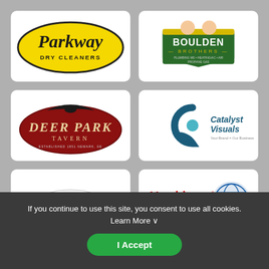[Figure (logo): Parkway Dry Cleaners logo — yellow oval with black cursive text 'Parkway' and 'DRY CLEANERS' below]
[Figure (logo): Boulden Brothers logo — green shield/badge with cartoon characters and text 'BOULDEN BROTHERS' with service taglines]
[Figure (logo): Deer Park Tavern logo — dark red oval with eagle silhouette, serif text 'DEER PARK' and 'TAVERN' below]
[Figure (logo): Catalyst Visuals logo — teal circular C icon and text 'Catalyst Visuals' with tagline 'Your Brand = Our Business']
[Figure (logo): Fusion Racing logo — stylized text with orbital ring graphic]
[Figure (logo): Hopkins & Sons, Inc. logo — red bold 'Hopkins' text, blue '& Sons, Inc.' and globe icon, tagline 'Moving the World Since 1946']
If you continue to use this site, you consent to use all cookies.
Learn More ∨
I Accept